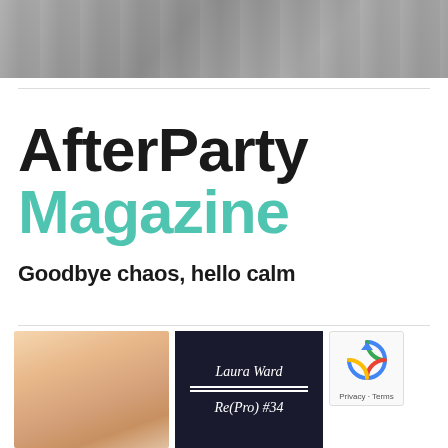[Figure (photo): Top banner photo showing people in a group setting, gray/muted tones]
[Figure (logo): AfterParty Magazine logo: 'AfterParty' in large black bold sans-serif, 'Magazine' in large teal/turquoise bold sans-serif, with tagline 'Goodbye chaos, hello calm' in bold black below]
[Figure (photo): Portrait photo of a woman with blonde hair]
[Figure (infographic): Dark navy card with italic text: 'Laura Ward' above two horizontal white lines, then 'Re(Pro) #34' below]
[Figure (other): reCAPTCHA widget showing the circular arrow logo and 'Privacy - Terms' text]